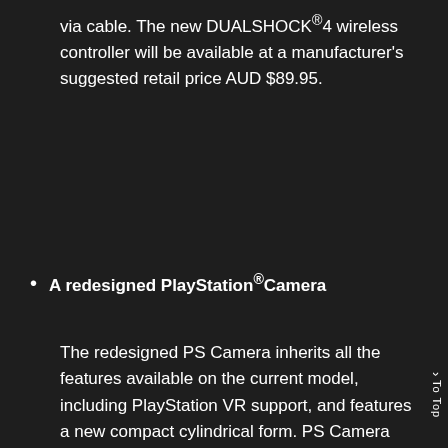via cable. The new DUALSHOCK®4 wireless controller will be available at a manufacturer's suggested retail price AUD $89.95.
A redesigned PlayStation®Camera
The redesigned PS Camera inherits all the features available on the current model, including PlayStation VR support, and features a new compact cylindrical form. PS Camera includes a stand allowing users to easily adjust the angle of the PS Camera and set it
To Top ↑